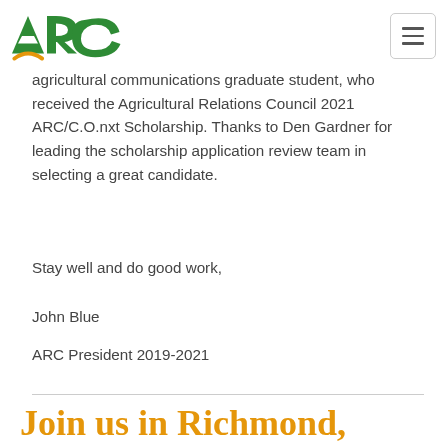ARC logo and navigation menu
agricultural communications graduate student, who received the Agricultural Relations Council 2021 ARC/C.O.nxt Scholarship. Thanks to Den Gardner for leading the scholarship application review team in selecting a great candidate.
Stay well and do good work,
John Blue
ARC President 2019-2021
Join us in Richmond, Virginia, for the 2021 annual